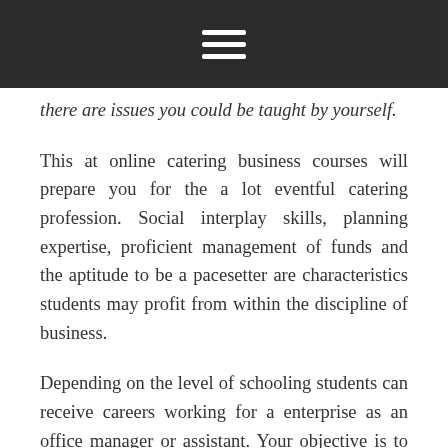☰
there are issues you could be taught by yourself.
This at online catering business courses will prepare you for the a lot eventful catering profession. Social interplay skills, planning expertise, proficient management of funds and the aptitude to be a pacesetter are characteristics students may profit from within the discipline of business.
Depending on the level of schooling students can receive careers working for a enterprise as an office manager or assistant. Your objective is to fill seats, so your costs must